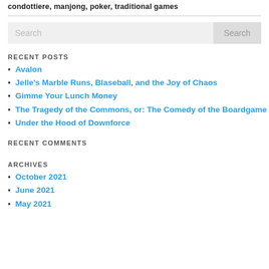condottiere, manjong, poker, traditional games
RECENT POSTS
Avalon
Jelle's Marble Runs, Blaseball, and the Joy of Chaos
Gimme Your Lunch Money
The Tragedy of the Commons, or: The Comedy of the Boardgame
Under the Hood of Downforce
RECENT COMMENTS
ARCHIVES
October 2021
June 2021
May 2021